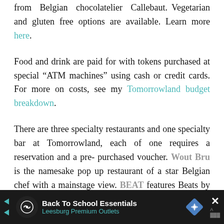from Belgian chocolatelier Callebaut. Vegetarian and gluten free options are available. Learn more here.
Food and drink are paid for with tokens purchased at special “ATM machines” using cash or credit cards. For more on costs, see my Tomorrowland budget breakdown.
There are three specialty restaurants and one specialty bar at Tomorrowland, each of one requires a reservation and a pre-purchased voucher. Wout Bru is the namesake pop up restaurant of a star Belgian chef with a mainstage view. BEAT features Beats by Dre headphones and a menu matched to the music and
[Figure (other): Advertisement bar at the bottom: Back To School Essentials - Leesburg Premium Outlets, with circular logo icon, navigation arrows, diamond-shaped map icon, and close button with X.]